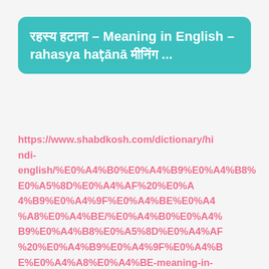रहस्य हटाना – Meaning in English – rahasya haṭānā मीनिंग ...
https://www.shabdkosh.com/dictionary/hindi-english/%E0%A4%B0%E0%A4%B9%E0%A4%B8%E0%A5%8D%E0%A4%AF%20%E0%A4%B9%E0%A4%9F%E0%A4%BE%E0%A4%A8%E0%A4%BE/%E0%A4%B0%E0%A4%B9%E0%A4%B8%E0%A5%8D%E0%A4%AF%20%E0%A4%B9%E0%A4%9F%E0%A4%BE%E0%A4%A8%E0%A4%BE-meaning-in-english